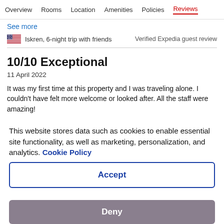Overview  Rooms  Location  Amenities  Policies  Reviews
See more
Iskren, 6-night trip with friends   Verified Expedia guest review
10/10 Exceptional
11 April 2022
It was my first time at this property and I was traveling alone. I couldn't have felt more welcome or looked after. All the staff were amazing!
This website stores data such as cookies to enable essential site functionality, as well as marketing, personalization, and analytics. Cookie Policy
Accept
Deny